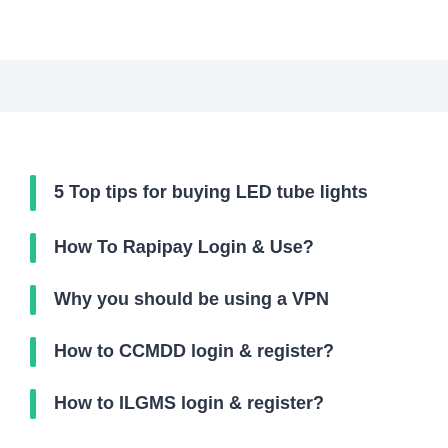5 Top tips for buying LED tube lights
How To Rapipay Login & Use?
Why you should be using a VPN
How to CCMDD login & register?
How to ILGMS login & register?